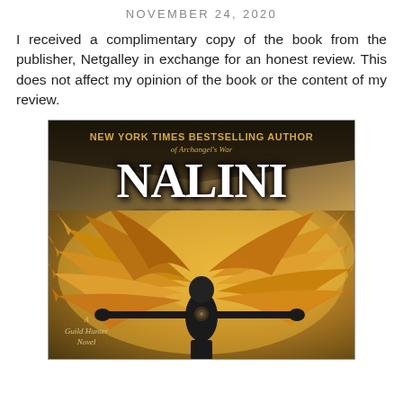NOVEMBER 24, 2020
I received a complimentary copy of the book from the publisher, Netgalley in exchange for an honest review. This does not affect my opinion of the book or the content of my review.
[Figure (illustration): Book cover of a Nalini Singh Guild Hunter Novel. Dark fantasy cover showing an armored figure with large golden/amber wings spread wide, arms outstretched. Text reads: NEW YORK TIMES BESTSELLING AUTHOR of Archangel's War, NALINI SINGH, A Guild Hunter Novel.]